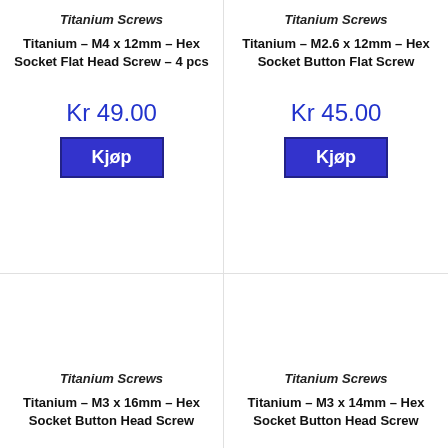Titanium Screws
Titanium – M4 x 12mm – Hex Socket Flat Head Screw – 4 pcs
Kr 49.00
Kjøp
Titanium Screws
Titanium – M2.6 x 12mm – Hex Socket Button Flat Screw
Kr 45.00
Kjøp
Titanium Screws
Titanium – M3 x 16mm – Hex Socket Button Head Screw
Titanium Screws
Titanium – M3 x 14mm – Hex Socket Button Head Screw